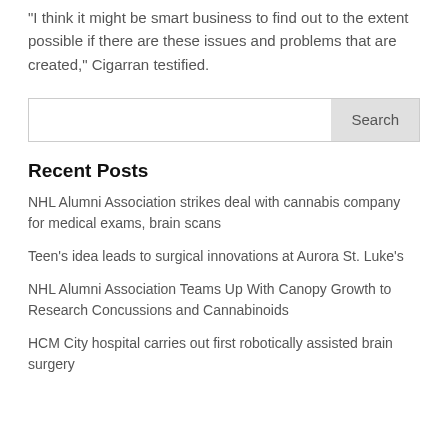“I think it might be smart business to find out to the extent possible if there are these issues and problems that are created,” Cigarran testified.
[Figure (other): Search input box with Search button]
Recent Posts
NHL Alumni Association strikes deal with cannabis company for medical exams, brain scans
Teen’s idea leads to surgical innovations at Aurora St. Luke’s
NHL Alumni Association Teams Up With Canopy Growth to Research Concussions and Cannabinoids
HCM City hospital carries out first robotically assisted brain surgery